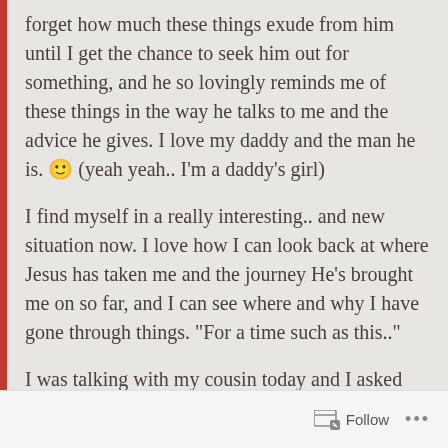forget how much these things exude from him until I get the chance to seek him out for something, and he so lovingly reminds me of these things in the way he talks to me and the advice he gives. I love my daddy and the man he is. 🙂 (yeah yeah.. I'm a daddy's girl)
I find myself in a really interesting.. and new situation now. I love how I can look back at where Jesus has taken me and the journey He's brought me on so far, and I can see where and why I have gone through things. “For a time such as this..”
I was talking with my cousin today and I asked him “in all honesty, am I a strong person?” he laughed